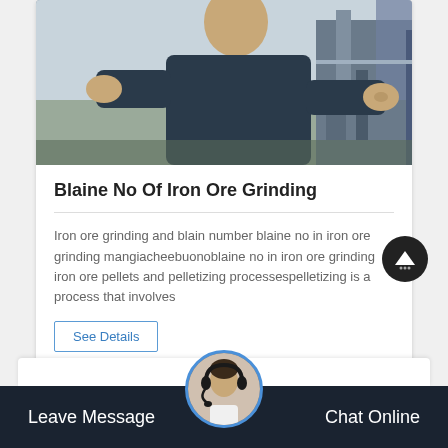[Figure (photo): A man in a dark jacket at an industrial/construction site, holding something in his hands, with heavy machinery in the background.]
Blaine No Of Iron Ore Grinding
Iron ore grinding and blain number blaine no in iron ore grinding mangiacheebuonoblaine no in iron ore grinding iron ore pellets and pelletizing processespelletizing is a process that involves
See Details
Leave Message
Chat Online